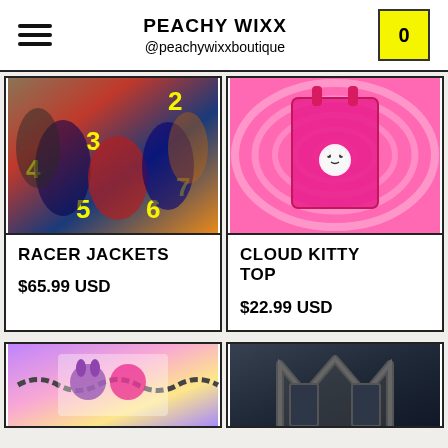PEACHY WIXX @peachywixxboutique
[Figure (photo): Racer jackets product photo showing multiple numbered racing jackets (2, 3, 4, 5, 6, 7) worn by models]
RACER JACKETS
$65.99 USD
[Figure (photo): Cloud Kitty Top product photo showing a pink ribbed crop top with Hello Kitty cloud charm on a pink swirl background]
CLOUD KITTY TOP
$22.99 USD
[Figure (photo): Sanrio-themed tote bag with Kuromi and My Melody on colorful purple/pink background]
[Figure (photo): Dark-themed product photo with gothic/villain style image in black and grey tones]